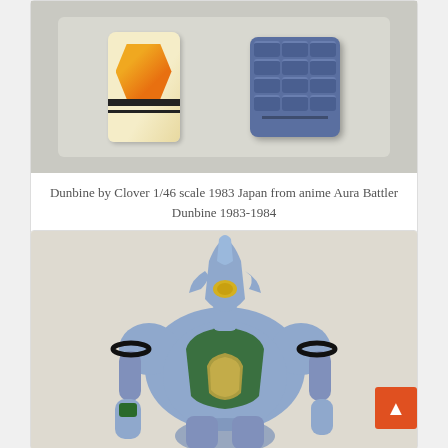[Figure (photo): A foam tray containing two items: a cylindrical bottle/container with orange and black markings and an orange geometric logo, and a blue robot fist/arm accessory piece, photographed from above on a gray foam tray background.]
Dunbine by Clover 1/46 scale 1983 Japan from anime Aura Battler Dunbine 1983-1984
[Figure (photo): A close-up photo of a light blue/gray robot figure (Dunbine) with a green chest panel, yellow eye, black ring accents on the shoulders, and articulated arms. The robot has an organic insect-like design. A red scroll-to-top button is visible in the lower right corner.]